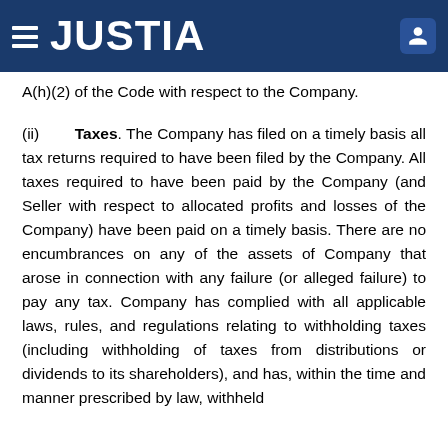JUSTIA
A(h)(2) of the Code with respect to the Company.
(ii) Taxes. The Company has filed on a timely basis all tax returns required to have been filed by the Company. All taxes required to have been paid by the Company (and Seller with respect to allocated profits and losses of the Company) have been paid on a timely basis. There are no encumbrances on any of the assets of Company that arose in connection with any failure (or alleged failure) to pay any tax. Company has complied with all applicable laws, rules, and regulations relating to withholding taxes (including withholding of taxes from distributions or dividends to its shareholders), and has, within the time and manner prescribed by law, withheld